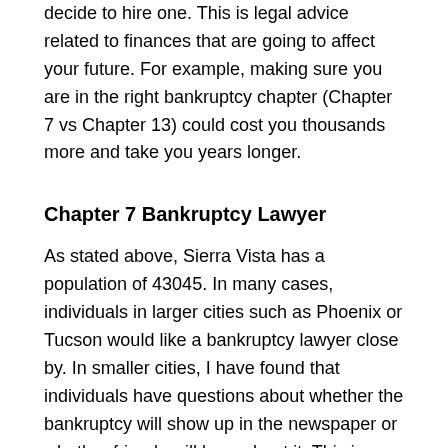decide to hire one. This is legal advice related to finances that are going to affect your future. For example, making sure you are in the right bankruptcy chapter (Chapter 7 vs Chapter 13) could cost you thousands more and take you years longer.
Chapter 7 Bankruptcy Lawyer
As stated above, Sierra Vista has a population of 43045. In many cases, individuals in larger cities such as Phoenix or Tucson would like a bankruptcy lawyer close by. In smaller cities, I have found that individuals have questions about whether the bankruptcy will show up in the newspaper or whether friends will hear about it. This is a valid question.
Regardless, you can check the Chapter 7 bankruptcy lawyer reviews in Sierra Vista in the...